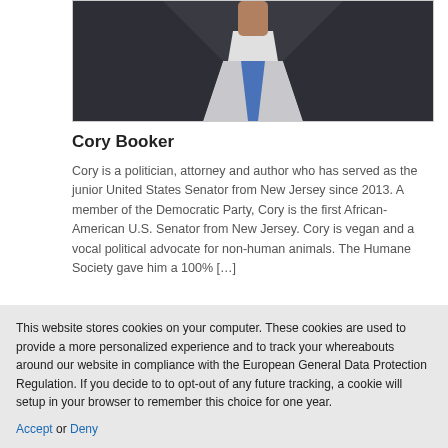[Figure (photo): Partial photo of Cory Booker wearing a dark suit with a blue tie, cropped at the torso/neck area.]
Cory Booker
Cory is a politician, attorney and author who has served as the junior United States Senator from New Jersey since 2013. A member of the Democratic Party, Cory is the first African-American U.S. Senator from New Jersey. Cory is vegan and a vocal political advocate for non-human animals. The Humane Society gave him a 100% […]
Continue reading ▶
[Figure (photo): Partial image card — content not visible, appears to be another profile card beginning to load.]
This website stores cookies on your computer. These cookies are used to provide a more personalized experience and to track your whereabouts around our website in compliance with the European General Data Protection Regulation. If you decide to to opt-out of any future tracking, a cookie will be setup in your browser to remember this choice for one year.
Accept or Deny